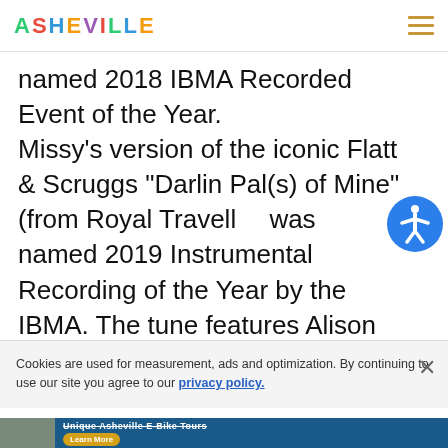ASHEVILLE [logo] [hamburger menu]
named 2018 IBMA Recorded Event of the Year. Missy’s version of the iconic Flatt & Scruggs “Darlin Pal(s) of Mine” (from Royal Travell… was named 2019 Instrumental Recording of the Year by the IBMA. The tune features Alison Brown on banjo, Todd Phillips on bass and Mike Bub on bass.
Cookies are used for measurement, ads and optimization. By continuing to use our site you agree to our privacy policy.
[Figure (screenshot): Advertisement banner for Unique Asheville E-Bike Tours with Learn More button]